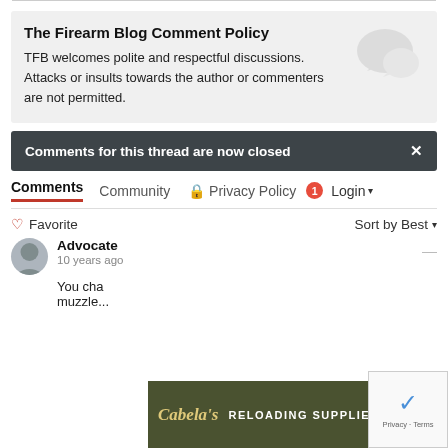The Firearm Blog Comment Policy
TFB welcomes polite and respectful discussions. Attacks or insults towards the author or commenters are not permitted.
Comments for this thread are now closed
Comments  Community  Privacy Policy  1  Login
Favorite  Sort by Best
Advocate
10 years ago
You cha muzzle...
[Figure (infographic): Cabela's Reloading Supplies advertisement banner with Shop Now button]
[Figure (other): reCAPTCHA verification widget with Privacy and Terms links]